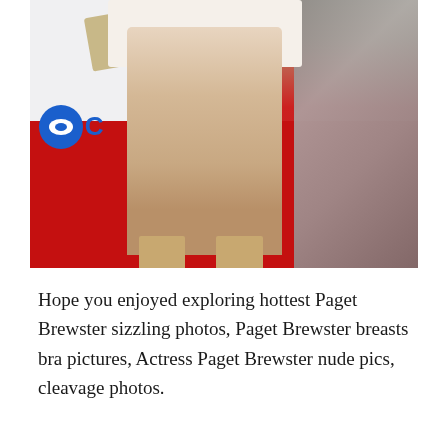[Figure (photo): Photo showing the lower body of a woman in a short white dress and nude pointed-toe heels standing on a red carpet in front of a CBS banner. Another person in a patterned outfit wearing flip-flops is visible to the right.]
Hope you enjoyed exploring hottest Paget Brewster sizzling photos, Paget Brewster breasts bra pictures, Actress Paget Brewster nude pics, cleavage photos.